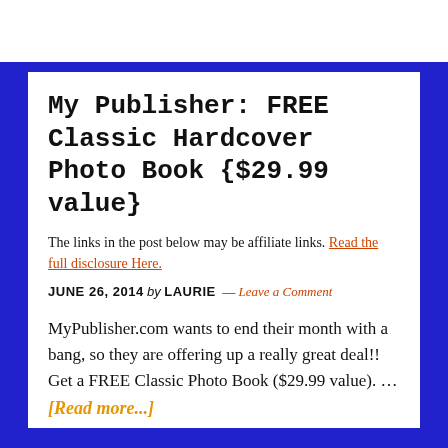My Publisher: FREE Classic Hardcover Photo Book {$29.99 value}
The links in the post below may be affiliate links. Read the full disclosure Here.
JUNE 26, 2014 by LAURIE — Leave a Comment
MyPublisher.com wants to end their month with a bang, so they are offering up a really great deal!!  Get a FREE Classic Photo Book ($29.99 value). … [Read more...]